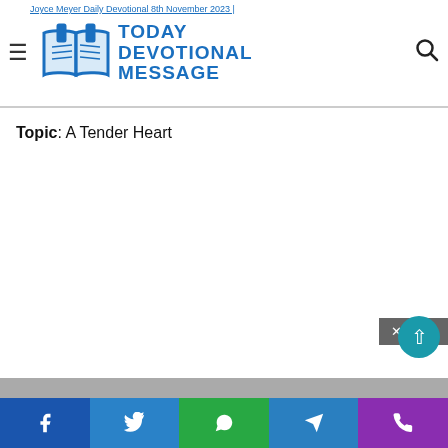Joyce Meyer Daily Devotional 8th November 2023 | Today Devotional Message
Topic: A Tender Heart
[Figure (screenshot): Gray advertisement placeholder area]
Facebook Twitter WhatsApp Telegram Phone social share buttons